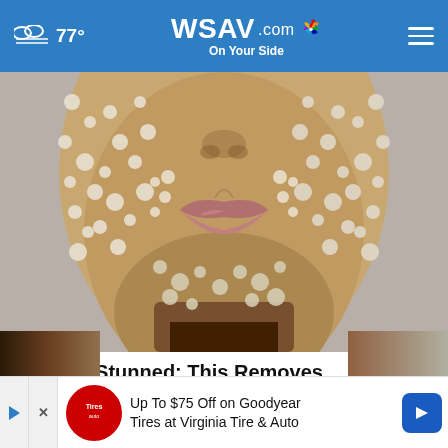☁ 77° | WSAV.com On Your Side
[Figure (photo): Close-up of a person's face covered in sugar or salt crystals, showing lips, chin and neck area against a light background]
Doctors Stunned: This Removes Wrinkles Like Crazy (Try Tonight)
Brillia...
Up To $75 Off on Goodyear Tires at Virginia Tire & Auto